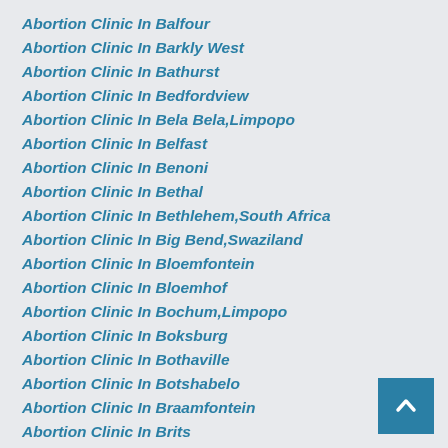Abortion Clinic In Balfour
Abortion Clinic In Barkly West
Abortion Clinic In Bathurst
Abortion Clinic In Bedfordview
Abortion Clinic In Bela Bela,Limpopo
Abortion Clinic In Belfast
Abortion Clinic In Benoni
Abortion Clinic In Bethal
Abortion Clinic In Bethlehem,South Africa
Abortion Clinic In Big Bend,Swaziland
Abortion Clinic In Bloemfontein
Abortion Clinic In Bloemhof
Abortion Clinic In Bochum,Limpopo
Abortion Clinic In Boksburg
Abortion Clinic In Bothaville
Abortion Clinic In Botshabelo
Abortion Clinic In Braamfontein
Abortion Clinic In Brits